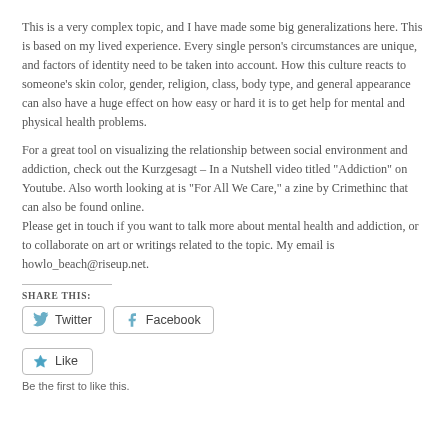This is a very complex topic, and I have made some big generalizations here. This is based on my lived experience. Every single person’s circumstances are unique, and factors of identity need to be taken into account. How this culture reacts to someone’s skin color, gender, religion, class, body type, and general appearance can also have a huge effect on how easy or hard it is to get help for mental and physical health problems.
For a great tool on visualizing the relationship between social environment and addiction, check out the Kurzgesagt – In a Nutshell video titled “Addiction” on Youtube. Also worth looking at is “For All We Care,” a zine by Crimethinc that can also be found online.
Please get in touch if you want to talk more about mental health and addiction, or to collaborate on art or writings related to the topic. My email is howlo_beach@riseup.net.
SHARE THIS:
Twitter  Facebook
Like
Be the first to like this.